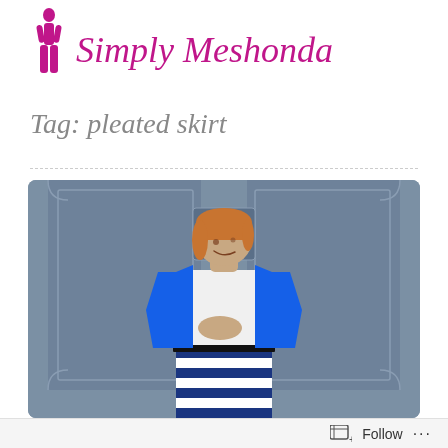Simply Meshonda
Tag: pleated skirt
[Figure (photo): Woman wearing a blue blazer over a white shirt and a striped pleated skirt (blue, white, black stripes), standing in front of a grey-blue double door, looking to her right. She has short auburn/blonde hair.]
Follow